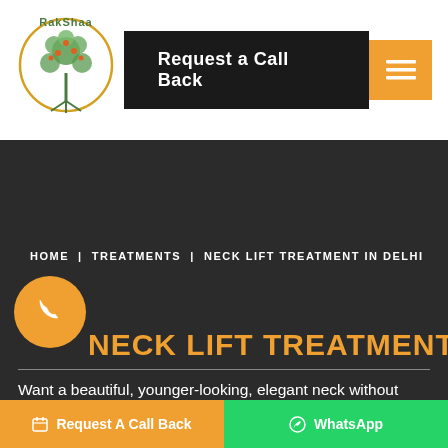[Figure (logo): RakShaa clinic logo - circular tree design with text RakShaa]
Request a Call Back
HOME | TREATMENTS | NECK LIFT TREATMENT IN DELHI
NECK LIFT TREATMENT IN DELHI
Want a beautiful, younger-looking, elegant neck without going
Request A Call Back | WhatsApp